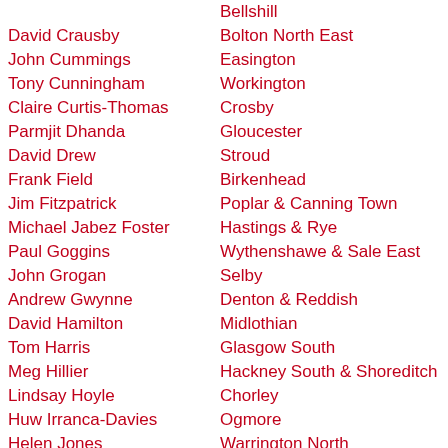| Name | Constituency | Party |
| --- | --- | --- |
|  | Bellshill |  |
| David Crausby | Bolton North East | Lab |
| John Cummings | Easington | Lab |
| Tony Cunningham | Workington | Lab (minis... |
| Claire Curtis-Thomas | Crosby | Lab (PPS) |
| Parmjit Dhanda | Gloucester | Lab (minis... |
| David Drew | Stroud | Lab |
| Frank Field | Birkenhead | Lab |
| Jim Fitzpatrick | Poplar & Canning Town | Lab (minis... |
| Michael Jabez Foster | Hastings & Rye | Lab |
| Paul Goggins | Wythenshawe & Sale East | Lab (minis... |
| John Grogan | Selby | Lab |
| Andrew Gwynne | Denton & Reddish | Lab (PPS) |
| David Hamilton | Midlothian | Lab |
| Tom Harris | Glasgow South | Lab (minis... |
| Meg Hillier | Hackney South & Shoreditch | Lab (minis... |
| Lindsay Hoyle | Chorley | Lab |
| Huw Irranca-Davies | Ogmore | Lab (minis... |
| Helen Jones | Warrington North | Lab (PPS) |
| Ruth Kelly | Bolton West | Lab (minis... |